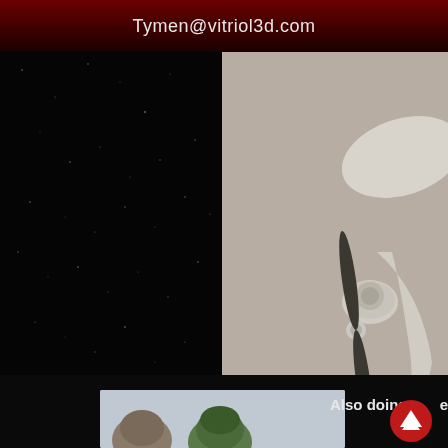Tymen@vitriol3d.com
[Figure (illustration): Starfield background — black space with scattered small white star dots, left half of page below header]
[Figure (illustration): 3D rendered vintage propeller airplane, light gray/beige color scheme, shown from front-right angle against a warm gray-beige background, propeller blade visible prominently]
[Figure (illustration): 3D rendered character heads/helmets in green and muted colors on a light blue-gray background, bottom left area]
Also doing some hea